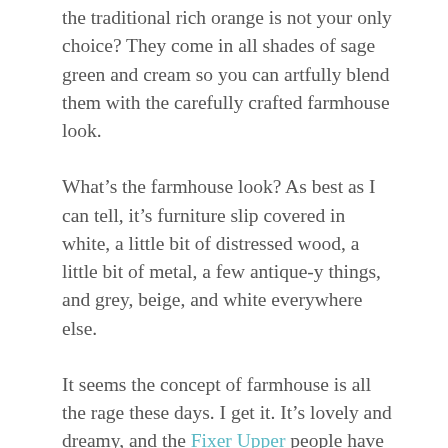the traditional rich orange is not your only choice?  They come in all shades of sage green and cream so you can artfully blend them with the carefully crafted farmhouse look.
What’s the farmhouse look?  As best as I can tell, it’s furniture slip covered in white, a little bit of distressed wood, a little bit of metal, a few antique-y things, and grey, beige, and white everywhere else.
It seems the concept of farmhouse is all the rage these days.  I get it. It’s lovely and dreamy, and the Fixer Upper people have turned it into a lucrative business (seriously, that’s great for them).  But for most of us living in the country,  these pics are not even close to reality.
So for a little fall fun, I thought I’d debunk a few of the fall farmhouse decor myths, at least around this farmgirl’s